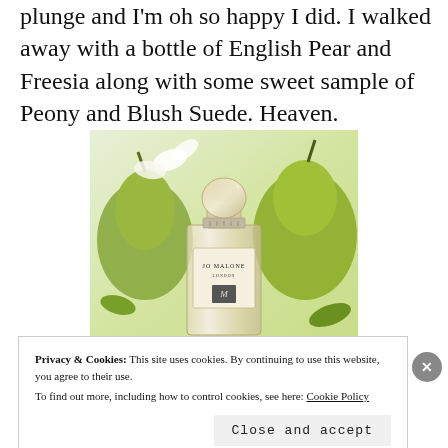plunge and I'm oh so happy I did. I walked away with a bottle of English Pear and Freesia along with some sweet sample of Peony and Blush Suede. Heaven.
[Figure (photo): Jo Malone perfume bottle surrounded by green pears and white flowers]
Privacy & Cookies: This site uses cookies. By continuing to use this website, you agree to their use. To find out more, including how to control cookies, see here: Cookie Policy
Close and accept